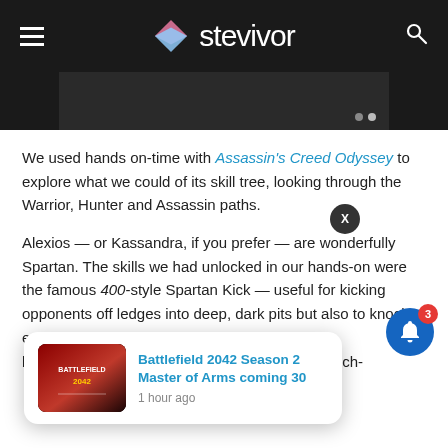stevivor
[Figure (screenshot): Dark image strip at the top of the article content area]
We used hands on-time with Assassin's Creed Odyssey to explore what we could of its skill tree, looking through the Warrior, Hunter and Assassin paths.
Alexios — or Kassandra, if you prefer — are wonderfully Spartan. The skills we had unlocked in our hands-on were the famous 400-style Spartan Kick — useful for kicking opponents off ledges into deep, dark pits but also to knock enemies off boats and into shark-infested waters... the shield ...much-
[Figure (screenshot): Notification popup showing 'Battlefield 2042 Season 2 Master of Arms coming 30' with thumbnail and '1 hour ago' timestamp]